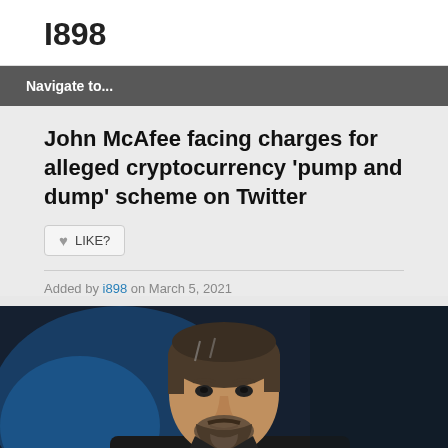I898
Navigate to...
John McAfee facing charges for alleged cryptocurrency ‘pump and dump’ scheme on Twitter
LIKE?
Added by i898 on March 5, 2021
[Figure (photo): Portrait photo of John McAfee, an older man with grey-brown hair and beard wearing a dark suit and tie, with a dark blue blurred background.]